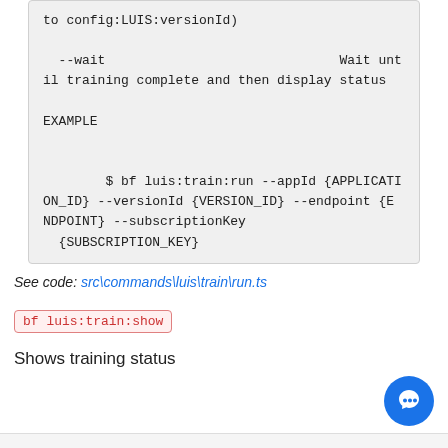to config:LUIS:versionId)

  --wait                              Wait until training complete and then display status

EXAMPLE


        $ bf luis:train:run --appId {APPLICATION_ID} --versionId {VERSION_ID} --endpoint {ENDPOINT} --subscriptionKey
  {SUBSCRIPTION_KEY}
See code: src\commands\luis\train\run.ts
bf luis:train:show
Shows training status